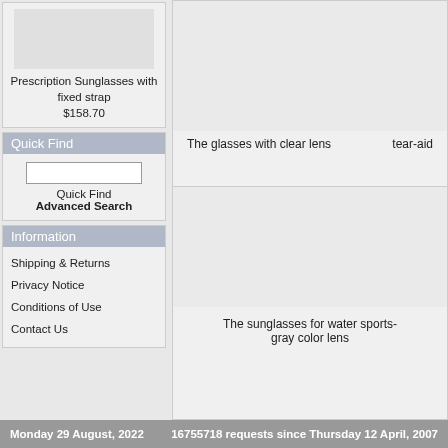Prescription Sunglasses with fixed strap
$158.70
Quick Find
Quick Find
Advanced Search
Information
Shipping & Returns
Privacy Notice
Conditions of Use
Contact Us
The glasses with clear lens    tear-aid
The sunglasses for water sports-
gray color lens
Monday 29 August, 2022    16755718 requests since Thursday 12 April, 2007